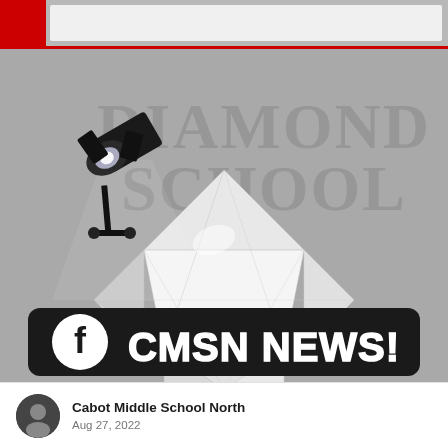[Figure (illustration): Diamond School CMSN News graphic: large grey text reading 'DIAMOND SCHOOL' above a sparkling diamond gemstone with a stage spotlight shining on it, and a Facebook-styled banner reading 'CMSN NEWS!' at the bottom, all on a grey background.]
Cabot Middle School North
Aug 27, 2022